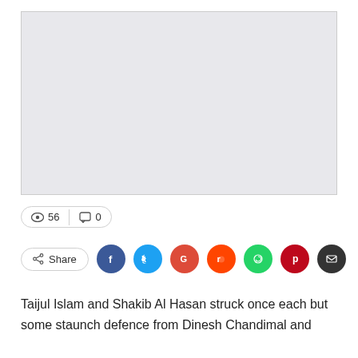[Figure (photo): A light gray rectangular placeholder image area with a thin border]
56   0
[Figure (infographic): Share button with social media icons: Facebook (blue), Twitter (blue), Google (red), Reddit (orange), WhatsApp (green), Pinterest (dark red), Email (dark gray)]
Taijul Islam and Shakib Al Hasan struck once each but some staunch defence from Dinesh Chandimal and